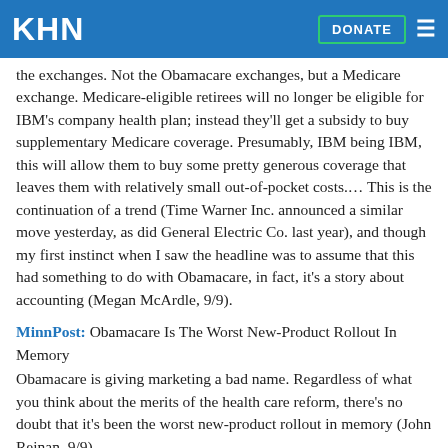KHN | DONATE
the exchanges. Not the Obamacare exchanges, but a Medicare exchange. Medicare-eligible retirees will no longer be eligible for IBM's company health plan; instead they'll get a subsidy to buy supplementary Medicare coverage. Presumably, IBM being IBM, this will allow them to buy some pretty generous coverage that leaves them with relatively small out-of-pocket costs.... This is the continuation of a trend (Time Warner Inc. announced a similar move yesterday, as did General Electric Co. last year), and though my first instinct when I saw the headline was to assume that this had something to do with Obamacare, in fact, it's a story about accounting (Megan McArdle, 9/9).
MinnPost: Obamacare Is The Worst New-Product Rollout In Memory
Obamacare is giving marketing a bad name. Regardless of what you think about the merits of the health care reform, there's no doubt that it's been the worst new-product rollout in memory (John Reinan, 9/9).
The Annals Of Family Medicine: The Affordable Care Act: Unprecedented Opportunities For Family Physicians And Public